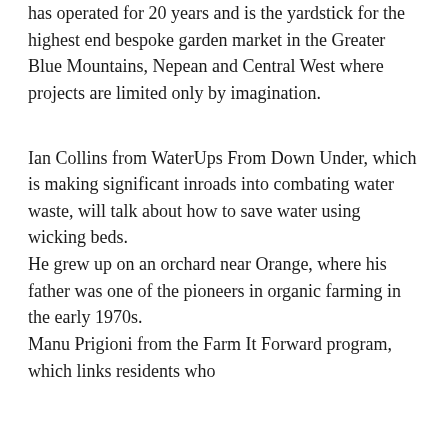has operated for 20 years and is the yardstick for the highest end bespoke garden market in the Greater Blue Mountains, Nepean and Central West where projects are limited only by imagination.
Ian Collins from WaterUps From Down Under, which is making significant inroads into combating water waste, will talk about how to save water using wicking beds. He grew up on an orchard near Orange, where his father was one of the pioneers in organic farming in the early 1970s. Manu Prigioni from the Farm It Forward program, which links residents who